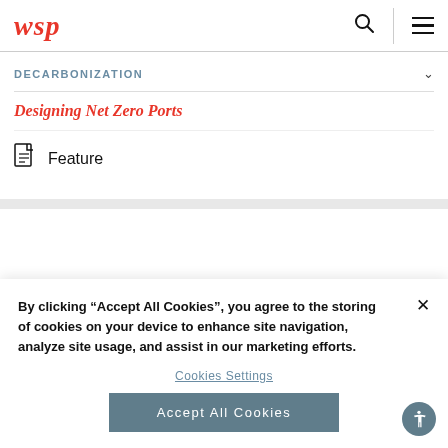WSP
DECARBONIZATION
Designing Net Zero Ports
Feature
By clicking “Accept All Cookies”, you agree to the storing of cookies on your device to enhance site navigation, analyze site usage, and assist in our marketing efforts.
Cookies Settings
Accept All Cookies